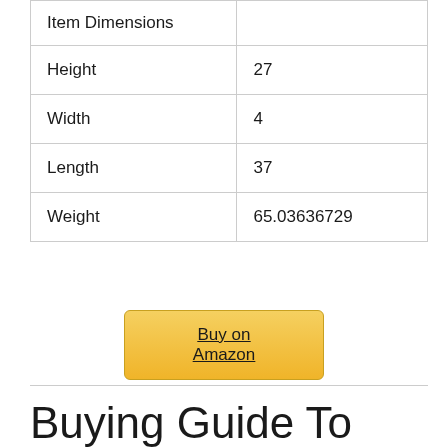| Item Dimensions |  |
| Height | 27 |
| Width | 4 |
| Length | 37 |
| Weight | 65.03636729 |
[Figure (other): Buy on Amazon button — a rounded yellow/gold gradient button with underlined text 'Buy on Amazon']
Buying Guide To Choose The Best